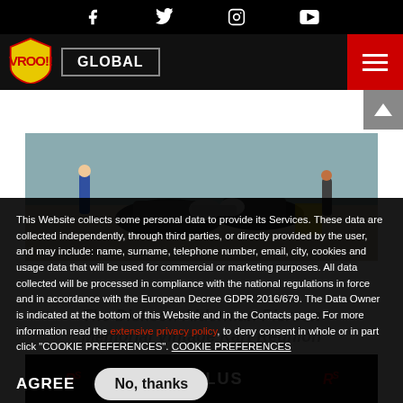VROO!! GLOBAL — social media navigation bar with Facebook, Twitter, Instagram, YouTube icons
[Figure (photo): Outdoor motorsport/karting event photo showing mechanical equipment, karts, and participants on a paved surface]
This Website collects some personal data to provide its Services. These data are collected independently, through third parties, or directly provided by the user, and may include: name, surname, telephone number, email, city, cookies and usage data that will be used for commercial or marketing purposes. All data collected will be processed in compliance with the national regulations in force and in accordance with the European Decree GDPR 2016/679. The Data Owner is indicated at the bottom of this Website and in the Contacts page. For more information read the extensive privacy policy, to deny consent in whole or in part click "COOKIE PREFERENCES". COOKIE PREFERENCES
AGREE
No, thanks
The Dickson Alderman Pierson Memorial Vintage Kart Reunion
RS KE-PLUS RS sponsor logos